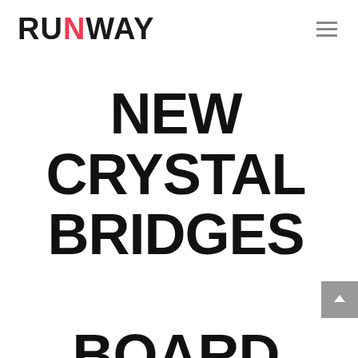RUNWAY
NEW CRYSTAL BRIDGES BOARD CHAIR OLIVIA